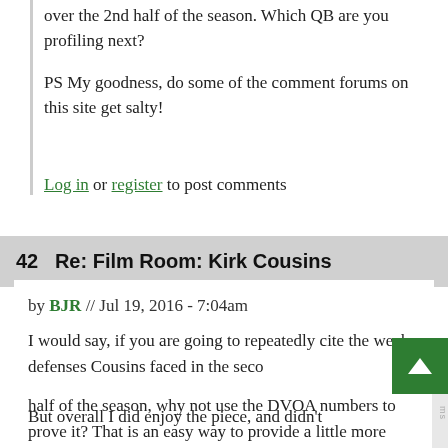over the 2nd half of the season. Which QB are you profiling next?
PS My goodness, do some of the comment forums on this site get salty!
Log in or register to post comments
42   Re: Film Room: Kirk Cousins
by BJR // Jul 19, 2016 - 7:04am
I would say, if you are going to repeatedly cite the weak defenses Cousins faced in the second half of the season, why not use the DVOA numbers to prove it? That is an easy way to provide a little more objectivity.
But overall I did enjoy the piece, and didn't